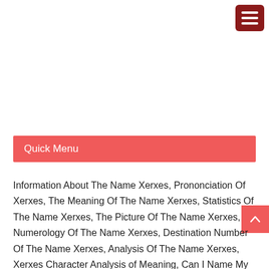[Figure (other): Hamburger menu button icon (three horizontal white lines on dark red rounded background) in top right corner]
Quick Menu
Information About The Name Xerxes, Prononciation Of Xerxes, The Meaning Of The Name Xerxes, Statistics Of The Name Xerxes, The Picture Of The Name Xerxes, Numerology Of The Name Xerxes, Destination Number Of The Name Xerxes, Analysis Of The Name Xerxes, Xerxes Character Analysis of Meaning, Can I Name My Baby Xerxes?, List Of Celebrities With First Name Xerxes, Xerxes in Arabic Writing, Xerxes in Chinese